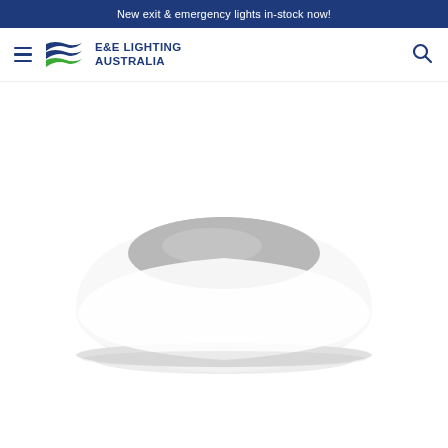New exit & emergency lights in-stock now!
[Figure (logo): E&E Lighting Australia logo with stylized double-arrow icon in blue and green, text reads E&E LIGHTING AUSTRALIA]
[Figure (photo): White circular dome-shaped ceiling light fitting with grey lens, photographed on white background]